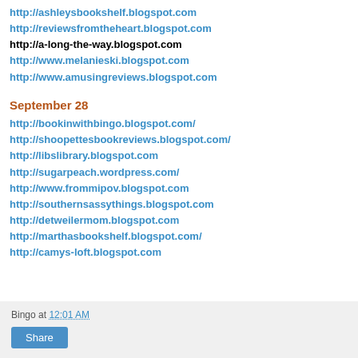http://ashleysbookshelf.blogspot.com
http://reviewsfromtheheart.blogspot.com
http://a-long-the-way.blogspot.com
http://www.melanieski.blogspot.com
http://www.amusingreviews.blogspot.com
September 28
http://bookinwithbingo.blogspot.com/
http://shoopettesbookreviews.blogspot.com/
http://libslibrary.blogspot.com
http://sugarpeach.wordpress.com/
http://www.frommipov.blogspot.com
http://southernsassythings.blogspot.com
http://detweilermom.blogspot.com
http://marthasbookshelf.blogspot.com/
http://camys-loft.blogspot.com
Bingo at 12:01 AM  Share